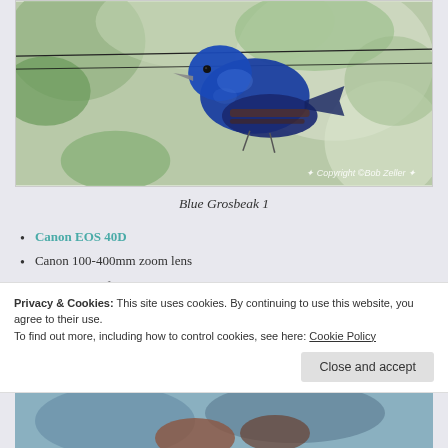[Figure (photo): Close-up photograph of a Blue Grosbeak bird perched on a wire, with blue plumage visible and green foliage in background. Copyright Bob Zeller watermark visible.]
Blue Grosbeak 1
Canon EOS 40D
Canon 100-400mm zoom lens
1/250 sec. @ f6.3
ISO 800
Lens focal distance  370mm
Metering – center weighted
Privacy & Cookies: This site uses cookies. By continuing to use this website, you agree to their use.
To find out more, including how to control cookies, see here: Cookie Policy
[Figure (photo): Partial bottom view of another bird photograph, partially obscured by cookie banner.]